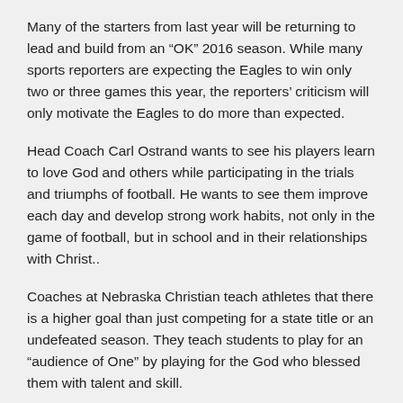Many of the starters from last year will be returning to lead and build from an “OK” 2016 season. While many sports reporters are expecting the Eagles to win only two or three games this year, the reporters’ criticism will only motivate the Eagles to do more than expected.
Head Coach Carl Ostrand wants to see his players learn to love God and others while participating in the trials and triumphs of football. He wants to see them improve each day and develop strong work habits, not only in the game of football, but in school and in their relationships with Christ..
Coaches at Nebraska Christian teach athletes that there is a higher goal than just competing for a state title or an undefeated season. They teach students to play for an “audience of One” by playing for the God who blessed them with talent and skill.
About 2017 Football Team: Part One: Team goals...